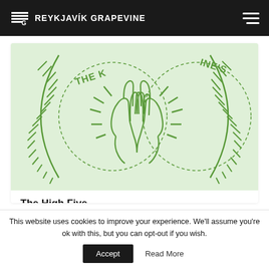THE REYKJAVÍK GRAPEVINE
[Figure (illustration): Illustration of two hands doing a high five, surrounded by circular badge outlines with text 'THE K...' and '...INE'S' partially visible, on a light green background. The style uses green line art.]
The High Five
7.6
This website uses cookies to improve your experience. We'll assume you're ok with this, but you can opt-out if you wish.
Accept
Read More